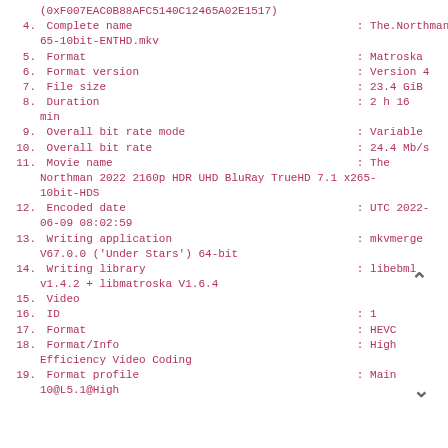(0xF007EAC0B88AFC5140C12465A02E1517)
4. Complete name                                  : The.Northman.2022.2160p.HDR.UHD.BluRay.TrueHD.7.1.x265-10bit-ENTHD.mkv
5. Format                                          : Matroska
6. Format version                                  : Version 4
7. File size                                       : 23.4 GiB
8. Duration                                        : 2 h 16 min
9. Overall bit rate mode                           : Variable
10. Overall bit rate                               : 24.4 Mb/s
11. Movie name                                     : The Northman 2022 2160p HDR UHD BluRay TrueHD 7.1 x265-10bit-HDS
12. Encoded date                                   : UTC 2022-06-09 08:02:59
13. Writing application                            : mkvmerge V67.0.0 ('Under Stars') 64-bit
14. Writing library                                : libebml v1.4.2 + libmatroska V1.6.4
15. Video
16. ID                                             : 1
17. Format                                         : HEVC
18. Format/Info                                    : High Efficiency Video Coding
19. Format profile                                 : Main 10@L5.1@High